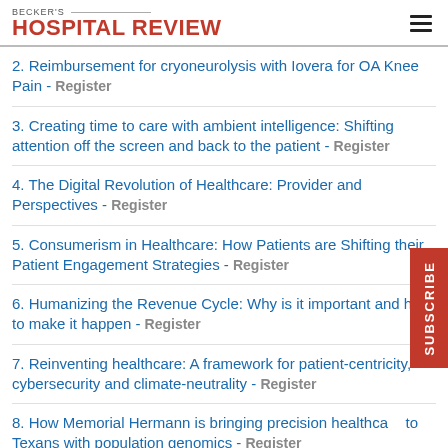BECKER'S HOSPITAL REVIEW
2. Reimbursement for cryoneurolysis with Iovera for OA Knee Pain - Register
3. Creating time to care with ambient intelligence: Shifting attention off the screen and back to the patient - Register
4. The Digital Revolution of Healthcare: Provider and Perspectives - Register
5. Consumerism in Healthcare: How Patients are Shifting their Patient Engagement Strategies - Register
6. Humanizing the Revenue Cycle: Why is it important and how to make it happen - Register
7. Reinventing healthcare: A framework for patient-centricity, cybersecurity and climate-neutrality - Register
8. How Memorial Hermann is bringing precision healthcare to Texans with population genomics - Register
9. Optimizing Capacity of the Perioperative Suite for Peak Operational and Financial Performance - Register
10. Financial Excellence in Rural Healthcare During